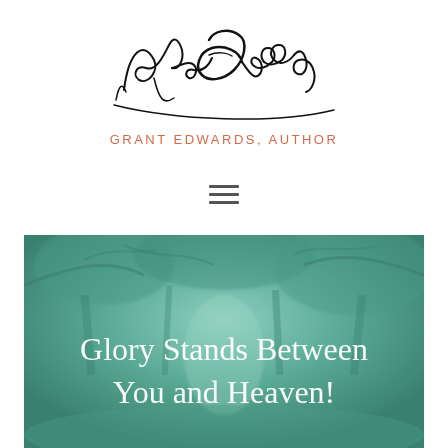[Figure (logo): Handwritten signature of Grant Edwards above the text GRANT EDWARDS, AUTHOR in coral/salmon colored capital letters]
[Figure (illustration): Teal/green tinted atmospheric forest path image with white handwritten-style text reading 'Glory Stands Between You and Heaven!']